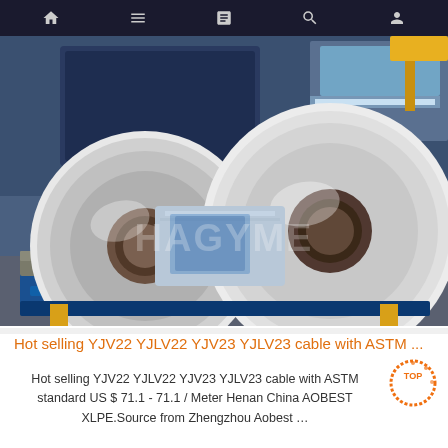Navigation bar with home, menu, catalog, search, and account icons
[Figure (photo): Industrial photo showing large rolls of aluminum or metal sheet/foil coiled on a blue platform inside a factory, with a watermark text overlay. Two large white/silver roll coils are prominently displayed on a blue metal industrial stand with grey padding underneath.]
Hot selling YJV22 YJLV22 YJV23 YJLV23 cable with ASTM ...
Hot selling YJV22 YJLV22 YJV23 YJLV23 cable with ASTM standard US $ 71.1 - 71.1 / Meter Henan China AOBEST XLPE.Source from Zhengzhou Aobest …